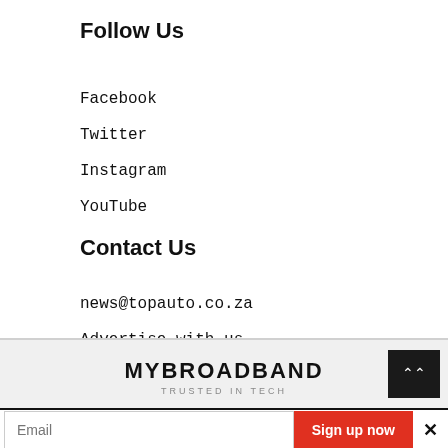Follow Us
Facebook
Twitter
Instagram
YouTube
Contact Us
news@topauto.co.za
Advertise with us
MYBROADBAND TRUSTED IN TECH
Email
Sign up now